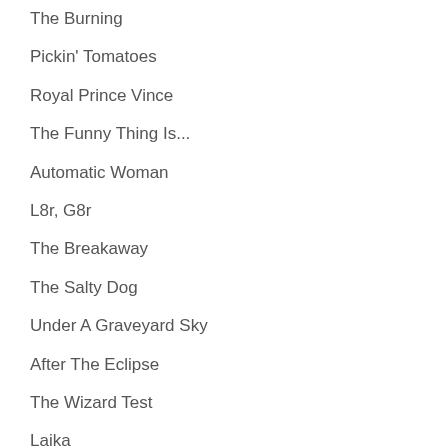The Burning
Pickin' Tomatoes
Royal Prince Vince
The Funny Thing Is...
Automatic Woman
L8r, G8r
The Breakaway
The Salty Dog
Under A Graveyard Sky
After The Eclipse
The Wizard Test
Laika
The Tattooed Wolf